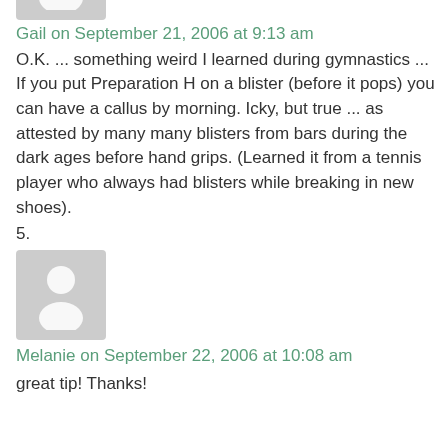[Figure (photo): Gray avatar placeholder image showing a person silhouette, partially cropped at top]
Gail on September 21, 2006 at 9:13 am
O.K. ... something weird I learned during gymnastics ... If you put Preparation H on a blister (before it pops) you can have a callus by morning. Icky, but true ... as attested by many many blisters from bars during the dark ages before hand grips. (Learned it from a tennis player who always had blisters while breaking in new shoes).
5.
[Figure (photo): Gray avatar placeholder image showing a person silhouette]
Melanie on September 22, 2006 at 10:08 am
great tip! Thanks!